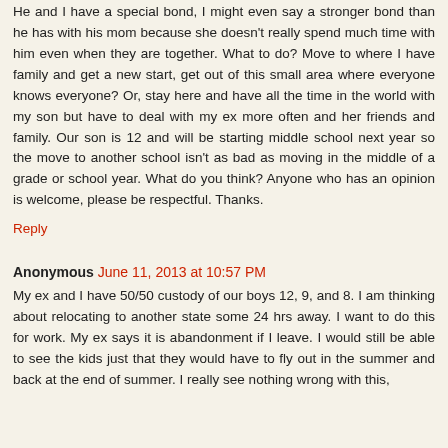He and I have a special bond, I might even say a stronger bond than he has with his mom because she doesn't really spend much time with him even when they are together. What to do? Move to where I have family and get a new start, get out of this small area where everyone knows everyone? Or, stay here and have all the time in the world with my son but have to deal with my ex more often and her friends and family. Our son is 12 and will be starting middle school next year so the move to another school isn't as bad as moving in the middle of a grade or school year. What do you think? Anyone who has an opinion is welcome, please be respectful. Thanks.
Reply
Anonymous June 11, 2013 at 10:57 PM
My ex and I have 50/50 custody of our boys 12, 9, and 8. I am thinking about relocating to another state some 24 hrs away. I want to do this for work. My ex says it is abandonment if I leave. I would still be able to see the kids just that they would have to fly out in the summer and back at the end of summer. I really see nothing wrong with this,